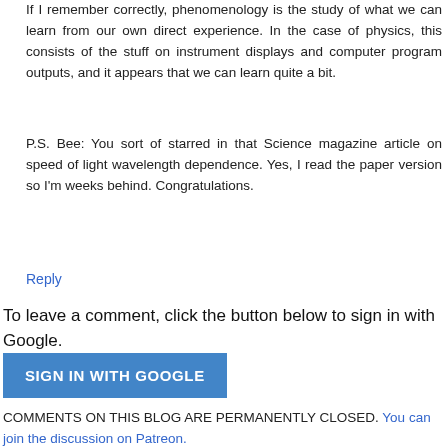If I remember correctly, phenomenology is the study of what we can learn from our own direct experience. In the case of physics, this consists of the stuff on instrument displays and computer program outputs, and it appears that we can learn quite a bit.
P.S. Bee: You sort of starred in that Science magazine article on speed of light wavelength dependence. Yes, I read the paper version so I'm weeks behind. Congratulations.
Reply
To leave a comment, click the button below to sign in with Google.
[Figure (other): Blue button labeled SIGN IN WITH GOOGLE]
COMMENTS ON THIS BLOG ARE PERMANENTLY CLOSED. You can join the discussion on Patreon.
Note: Only a member of this blog may post a